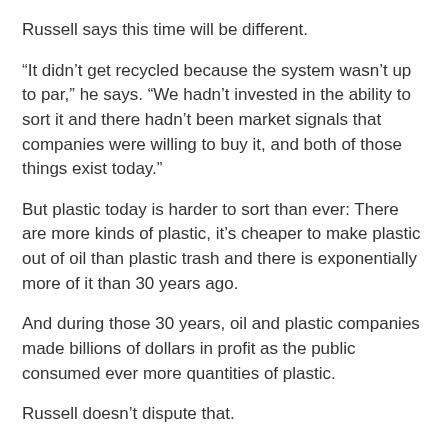Russell says this time will be different.
“It didn’t get recycled because the system wasn’t up to par,” he says. “We hadn’t invested in the ability to sort it and there hadn’t been market signals that companies were willing to buy it, and both of those things exist today.”
But plastic today is harder to sort than ever: There are more kinds of plastic, it’s cheaper to make plastic out of oil than plastic trash and there is exponentially more of it than 30 years ago.
And during those 30 years, oil and plastic companies made billions of dollars in profit as the public consumed ever more quantities of plastic.
Russell doesn’t dispute that.
“And during that time, our members have invested in developing the technologies that have brought us where we are today,” he says. “We are going to be able to make all of our new plastic out of existing municipal solid waste in plastic.”
Recently, an industry advocacy group funded by the nation’s largest oil and plastic companies launched its most expensive effort yet to promote recycling and cleanup of plastic waste. There’s even a new